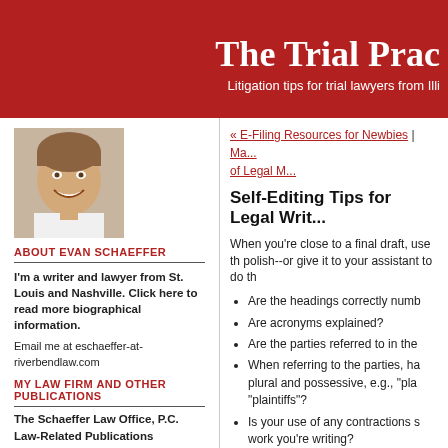The Trial Prac
Litigation tips for trial lawyers from Illi
« E-Filing Resources for Newbies | Ma... of Legal M...
Self-Editing Tips for Legal Writ...
When you're close to a final draft, use th polish--or give it to your assistant to do th
[Figure (photo): Headshot of Evan Schaeffer, smiling man]
ABOUT EVAN SCHAEFFER
I'm a writer and lawyer from St. Louis and Nashville. Click here to read more biographical information.
Email me at eschaeffer-at-riverbendlaw.com
MY LAW FIRM AND OTHER PUBLICATIONS
The Schaeffer Law Office, P.C.
Law-Related Publications
Other Publications
Are the headings correctly numb
Are acronyms explained?
Are the parties referred to in the
When referring to the parties, ha plural and possessive, e.g., "pla "plaintiffs"?
Is your use of any contractions s work you're writing?
Have you relied too much on the
Can any sentences be shortene